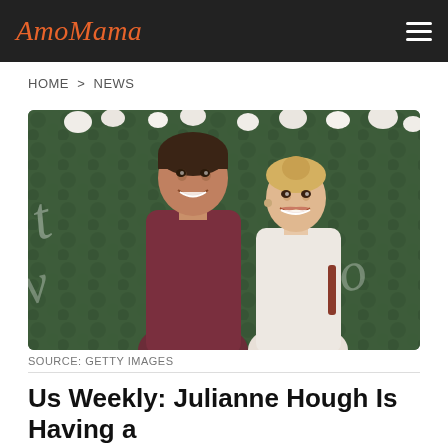AmoMama
HOME > NEWS
[Figure (photo): A man in a burgundy/maroon long-sleeve shirt and a blonde woman in a white lace top smiling together in front of a green floral wall backdrop with white flowers and cursive script lettering.]
SOURCE: GETTY IMAGES
Us Weekly: Julianne Hough Is Having a